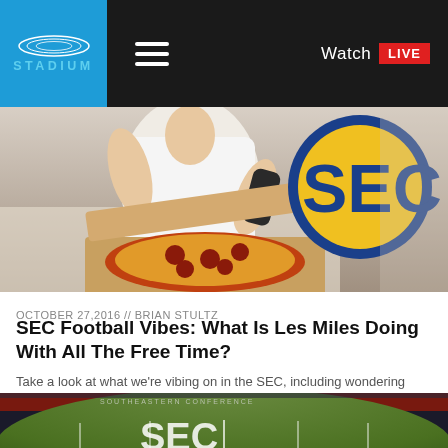STADIUM — Watch LIVE
[Figure (photo): Person in white tank top holding pizza box and TV remote, with SEC logo visible in background]
OCTOBER 27,2016 // BRIAN STULTZ
SEC Football Vibes: What Is Les Miles Doing With All The Free Time?
Take a look at what we're vibing on in the SEC, including wondering what Les Miles is doing with all of his free time and which head coach would I do a body shot off of.
[Figure (photo): Aerial view of SEC football stadium with SEC logo on field]